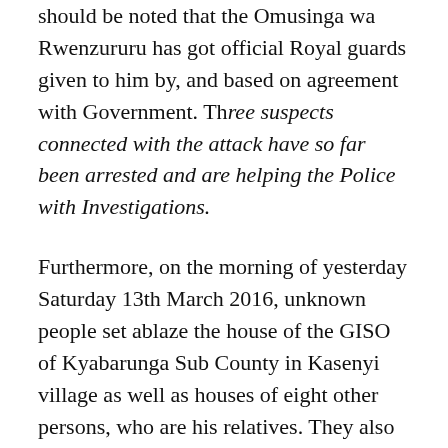should be noted that the Omusinga wa Rwenzururu has got official Royal guards given to him by, and based on agreement with Government. Three suspects connected with the attack have so far been arrested and are helping the Police with Investigations.
Furthermore, on the morning of yesterday Saturday 13th March 2016, unknown people set ablaze the house of the GISO of Kyabarunga Sub County in Kasenyi village as well as houses of eight other persons, who are his relatives. They also torched a butchery and a drug shop in the same area. We have information that criminal gangs are being incited to target GISOs and Crime Preventers and their properties in Kasese District.